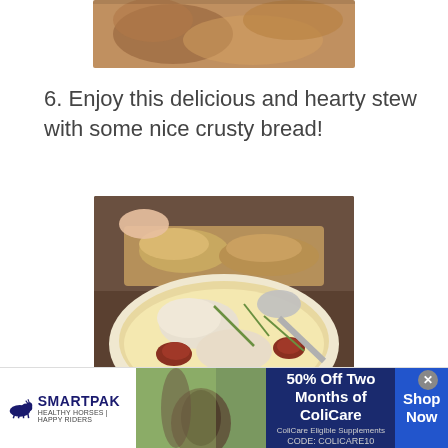[Figure (photo): Close-up photo of cooked meat/stew ingredients from above]
6. Enjoy this delicious and hearty stew with some nice crusty bread!
[Figure (photo): Photo of a bowl of creamy stew with chicken and sausage, with crusty bread in the background]
[Figure (photo): SmartPak advertisement banner: 50% Off Two Months of ColiCare, ColiCare Eligible Supplements, CODE: COLICARE10, Shop Now]